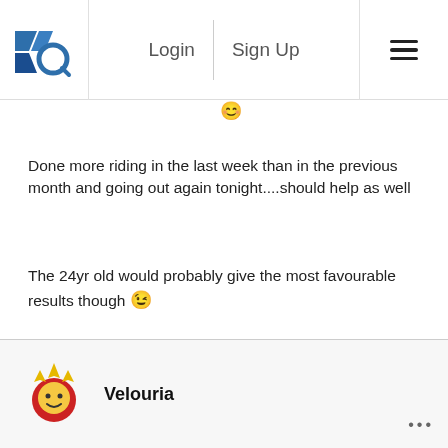Login  Sign Up  ☰
Done more riding in the last week than in the previous month and going out again tonight....should help as well
The 24yr old would probably give the most favourable results though 😉
Velouria